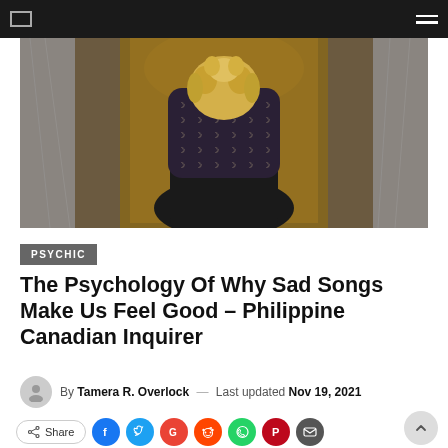Navigation bar with logo and hamburger menu
[Figure (photo): Person seen from behind with curly blonde hair, wearing a dark patterned top with crescent moon motifs, standing between marble panels with warm lighting]
PSYCHIC
The Psychology Of Why Sad Songs Make Us Feel Good – Philippine Canadian Inquirer
By Tamera R. Overlock — Last updated Nov 19, 2021
Share (social media buttons: Facebook, Twitter, Google+, Reddit, WhatsApp, Pinterest, Email)